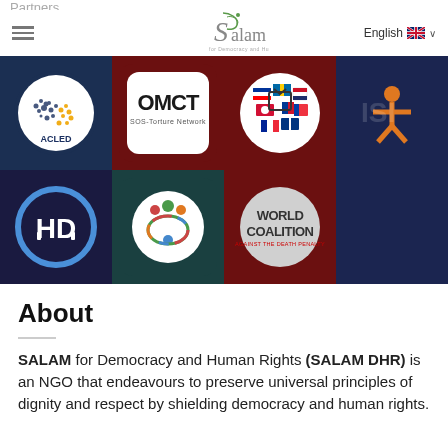Partners
[Figure (logo): Salam for Democracy and Human Rights logo with stylized S and leaf motif]
English
[Figure (illustration): Grid of 7 partner logos: ACLED (globe dot map), OMCT SOS-Torture Network, European flags circle, ISI (person icon), HD (circle logo), circular colorful people logo, World Coalition Against the Death Penalty]
About
SALAM for Democracy and Human Rights (SALAM DHR) is an NGO that endeavours to preserve universal principles of dignity and respect by shielding democracy and human rights.